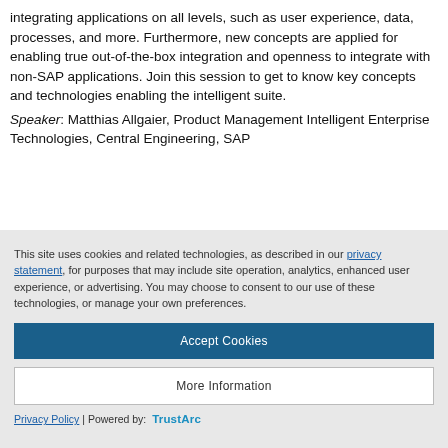integrating applications on all levels, such as user experience, data, processes, and more. Furthermore, new concepts are applied for enabling true out-of-the-box integration and openness to integrate with non-SAP applications. Join this session to get to know key concepts and technologies enabling the intelligent suite.
Speaker: Matthias Allgaier, Product Management Intelligent Enterprise Technologies, Central Engineering, SAP
This site uses cookies and related technologies, as described in our privacy statement, for purposes that may include site operation, analytics, enhanced user experience, or advertising. You may choose to consent to our use of these technologies, or manage your own preferences.
Accept Cookies
More Information
Privacy Policy | Powered by: TrustArc